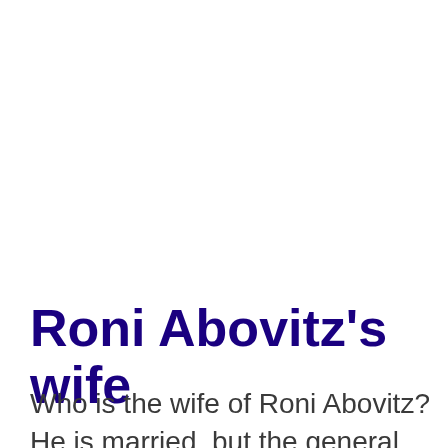Roni Abovitz's wife
Who is the wife of Roni Abovitz? He is married, but the general public